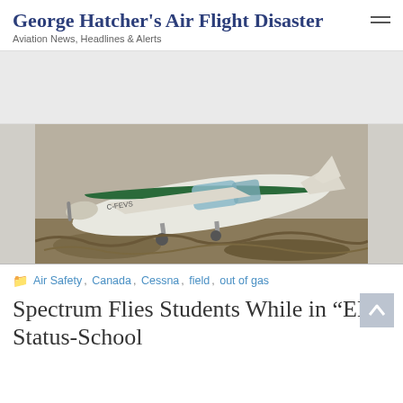George Hatcher's Air Flight Disaster
Aviation News, Headlines & Alerts
[Figure (photo): A crashed small white Cessna plane with green stripe lying on its side in a field/dirt area. Registration C-FEVS visible on the fuselage.]
Air Safety, Canada, Cessna, field, out of gas
Spectrum Flies Students While in “EM” Status-School